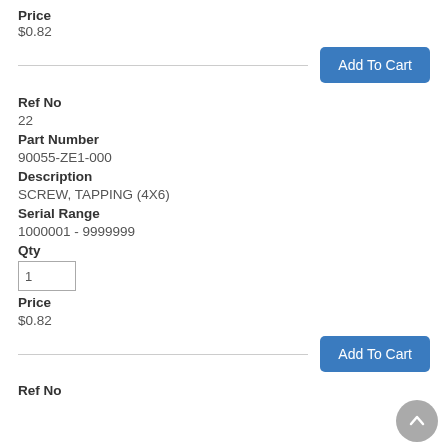Price
$0.82
Add To Cart
Ref No
22
Part Number
90055-ZE1-000
Description
SCREW, TAPPING (4X6)
Serial Range
1000001 - 9999999
Qty
1
Price
$0.82
Add To Cart
Ref No